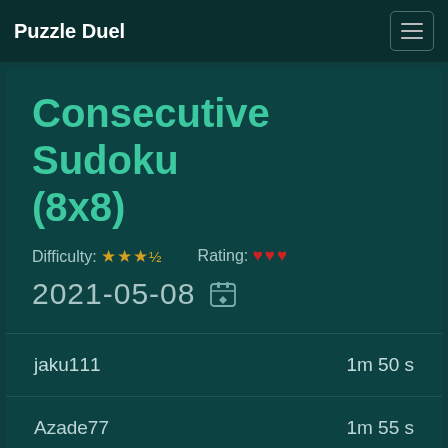Puzzle Duel
Consecutive Sudoku (8x8)
Difficulty: ★★★½   Rating: ♥♥♥
2021-05-08
| Player | Time |
| --- | --- |
| jaku111 | 1m 50 s |
| Azade77 | 1m 55 s |
| □□□□ | 1m 56 s |